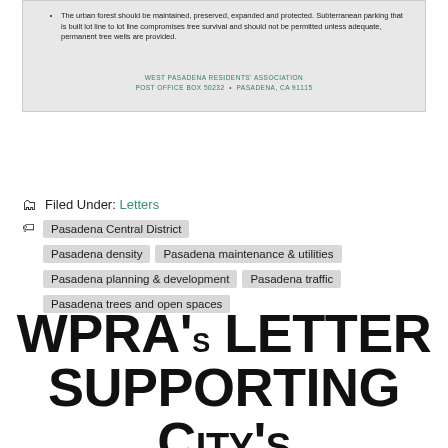The urban forest should be maintained, preserved, expanded and protected. Subterranean parking that is built lot line to lot line compromises tree survival and should not be permitted unless adequate, permanent tree wells are provided.
WEST PASADENA RESIDENTS' ASSOCIATION
POST OFFICE BOX 50232 • PASADENA, CA 91115
Filed Under: Letters
Tagged With: Pasadena Central District
Pasadena density
Pasadena maintenance & utilities
Pasadena planning & development
Pasadena traffic
Pasadena trees and open spaces
WPRA's letter supporting City's SB9 Interim